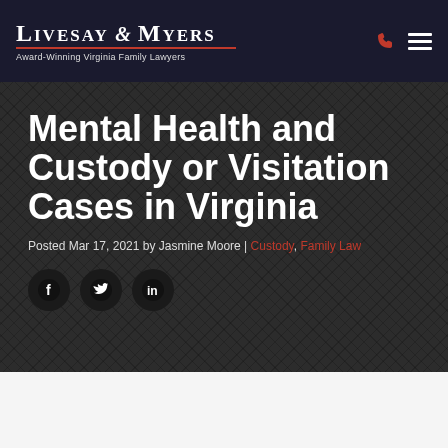LIVESAY & MYERS — Award-Winning Virginia Family Lawyers
Mental Health and Custody or Visitation Cases in Virginia
Posted Mar 17, 2021 by Jasmine Moore | Custody, Family Law
[Figure (photo): Partial view of a photo at the bottom of the page, showing desk items in warm tones]